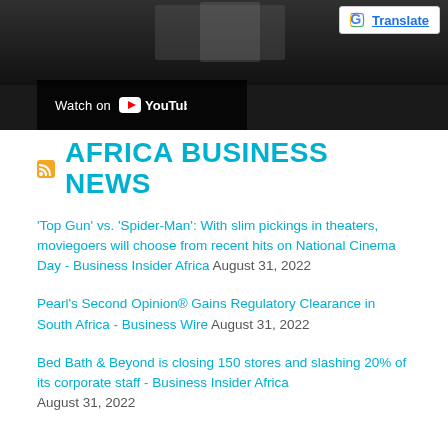[Figure (screenshot): YouTube video thumbnail/embed with dark background and 'Watch on YouTube' bar at bottom left. Google Translate button visible in top right corner.]
AFRICA BUSINESS NEWS
'Top Gun' vs. 'Spider-Man': With slim pickings in theaters, moviegoers will choose from recent hits on National Cinema Day - Business Insider Africa August 31, 2022
Pearl's Second Opinion® Gains Regulatory Clearance in South Africa - Business Wire August 31, 2022
Bed Bath & Beyond is closing 150 stores and slashing 20% of its corporate staff - Business Insider Africa August 31, 2022